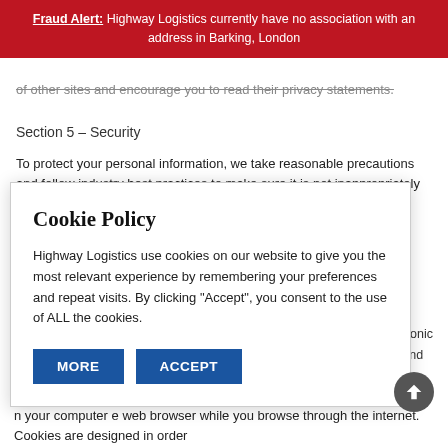Fraud Alert: Highway Logistics currently have no association with an address in Barking, London
of other sites and encourage you to read their privacy statements.
Section 5 – Security
To protect your personal information, we take reasonable precautions and follow industry best practices to make sure it is not inappropriately lost, misused, accessed, disclosed, altered or
[Figure (other): Cookie Policy modal overlay with title 'Cookie Policy', body text about cookies, and two buttons: MORE and ACCEPT]
ation, the technology (SSL). net or electronic uirements and tandards.
n your computer e web browser while you browse through the internet. Cookies are designed in order